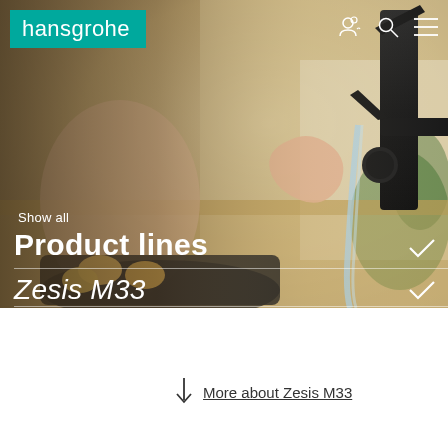[Figure (photo): Hero image showing a black matte kitchen/bathroom faucet (Zesis M33 by hansgrohe) with a hand holding a pot filling with water, kitchen background with plants and wooden surfaces]
hansgrohe
Show all
Product lines
Zesis M33
More about Zesis M33